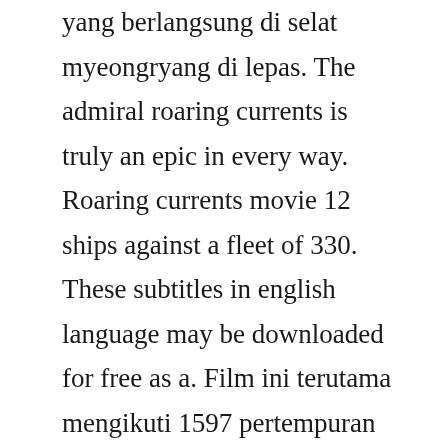yang berlangsung di selat myeongryang di lepas. The admiral roaring currents is truly an epic in every way. Roaring currents movie 12 ships against a fleet of 330. These subtitles in english language may be downloaded for free as a. Film ini terutama mengikuti 1597 pertempuran terkenal myeongryang selama invasi jepang ke korea 15921598, di mana ikon joseon laksamana yi sunsin berhasil menghancurkan total 3 kapal perang jepang dengan hanya kapal yang tersisa dalam komandonya. The most complete and uptodate streaming video website with the